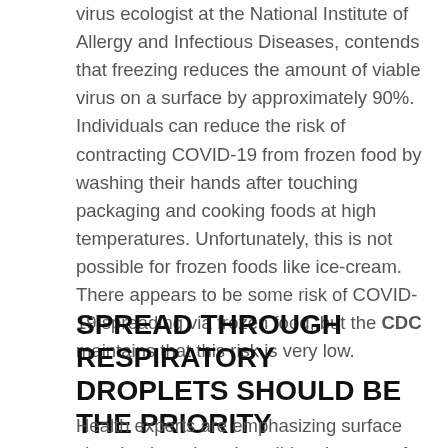virus ecologist at the National Institute of Allergy and Infectious Diseases, contends that freezing reduces the amount of viable virus on a surface by approximately 90%. Individuals can reduce the risk of contracting COVID-19 from frozen food by washing their hands after touching packaging and cooking foods at high temperatures. Unfortunately, this is not possible for frozen foods like ice-cream. There appears to be some risk of COVID-19 spreading via frozen food, but the CDC maintains that this risk is very low.
SPREAD THROUGH RESPIRATORY DROPLETS SHOULD BE THE PRIORITY
Health experts are emphasizing surface cleaning less than they did at the start of the pandemic. In fact, there